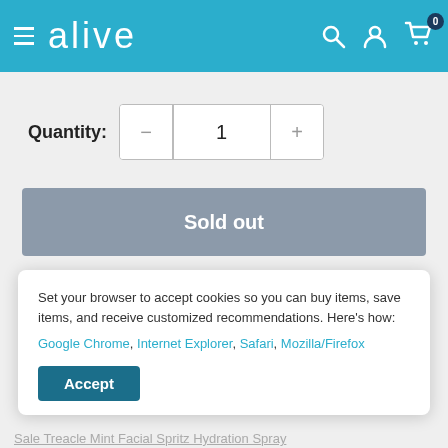alive
Quantity: 1
Sold out
Set your browser to accept cookies so you can buy items, save items, and receive customized recommendations. Here's how: Google Chrome, Internet Explorer, Safari, Mozilla/Firefox
Accept
Sale Treacle Mint Facial Spritz Hydration Spray